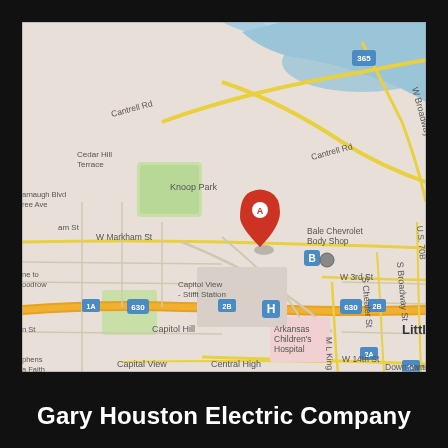[Figure (map): Google Maps screenshot showing Little Rock, Arkansas area with a red marker (A) near W Markham St and Capitol View - Stifft Station neighborhood. Map shows streets including Cantrell Rd, W 3rd St, W 14th St, Central High, Capitol Hill, Arkansas Children's Hospital, Knoop Park, and various highway markers (630, 2B, 1A, 365, U.S. 70B). Blue river visible in upper portion.]
Gary Houston Electric Company